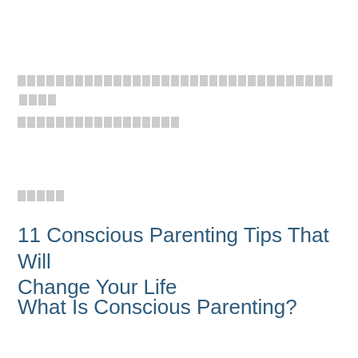[redacted text block - two lines of obscured content]
[redacted short text block]
11 Conscious Parenting Tips That Will Change Your Life
What Is Conscious Parenting?